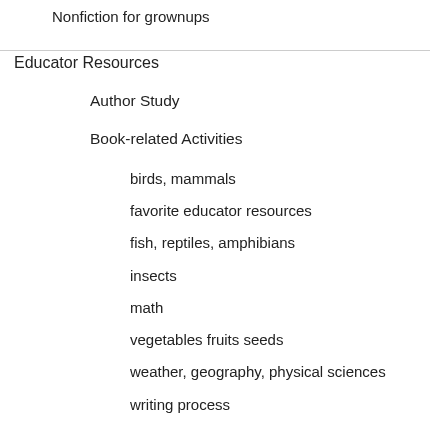Nonfiction for grownups
Educator Resources
Author Study
Book-related Activities
birds, mammals
favorite educator resources
fish, reptiles, amphibians
insects
math
vegetables fruits seeds
weather, geography, physical sciences
writing process